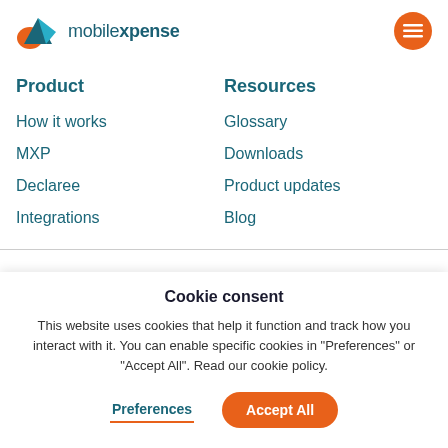[Figure (logo): Mobilexpense logo with geometric icon (orange and teal shapes) and text 'mobilexpense']
Product
Resources
How it works
Glossary
MXP
Downloads
Declaree
Product updates
Integrations
Blog
Cookie consent
This website uses cookies that help it function and track how you interact with it. You can enable specific cookies in "Preferences" or "Accept All". Read our cookie policy.